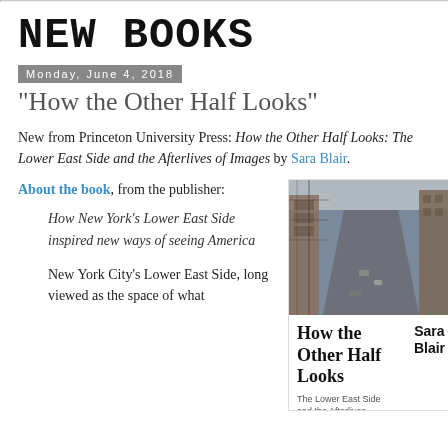NEW BOOKS
Monday, June 4, 2018
"How the Other Half Looks"
New from Princeton University Press: How the Other Half Looks: The Lower East Side and the Afterlives of Images by Sara Blair.
About the book, from the publisher:
How New York's Lower East Side inspired new ways of seeing America
New York City's Lower East Side, long viewed as the space of what
[Figure (photo): Book cover of 'How the Other Half Looks: The Lower East Side and the Afterlives of Images' by Sara Blair, published by Princeton University Press. Shows an aerial street photo of the Lower East Side neighborhood.]